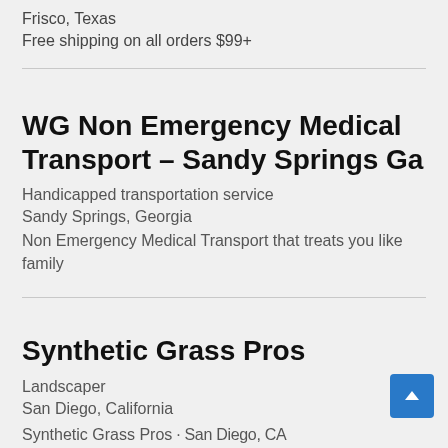Frisco, Texas
Free shipping on all orders $99+
WG Non Emergency Medical Transport – Sandy Springs Ga
Handicapped transportation service
Sandy Springs, Georgia
Non Emergency Medical Transport that treats you like family
Synthetic Grass Pros
Landscaper
San Diego, California
Synthetic Grass Pros · San Diego, CA...